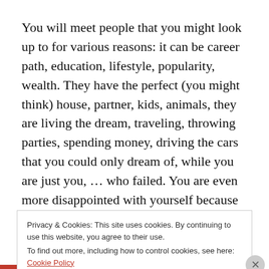You will meet people that you might look up to for various reasons: it can be career path, education, lifestyle, popularity, wealth. They have the perfect (you might think) house, partner, kids, animals, they are living the dream, traveling, throwing parties, spending money, driving the cars that you could only dream of, while you are just you, … who failed. You are even more disappointed with yourself because you convince yourself that you might never reach the standards that society set for all of us. But
Privacy & Cookies: This site uses cookies. By continuing to use this website, you agree to their use.
To find out more, including how to control cookies, see here: Cookie Policy